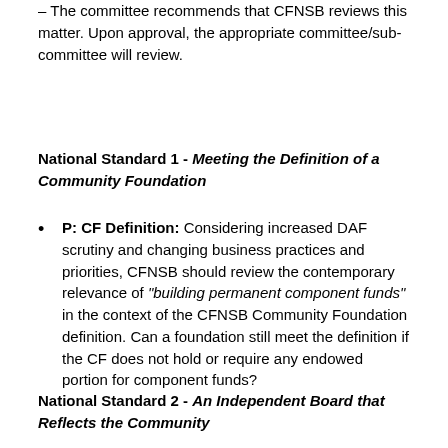– The committee recommends that CFNSB reviews this matter. Upon approval, the appropriate committee/sub-committee will review.
National Standard 1 - Meeting the Definition of a Community Foundation
P: CF Definition: Considering increased DAF scrutiny and changing business practices and priorities, CFNSB should review the contemporary relevance of "building permanent component funds" in the context of the CFNSB Community Foundation definition. Can a foundation still meet the definition if the CF does not hold or require any endowed portion for component funds?
National Standard 2 - An Independent Board that Reflects the Community